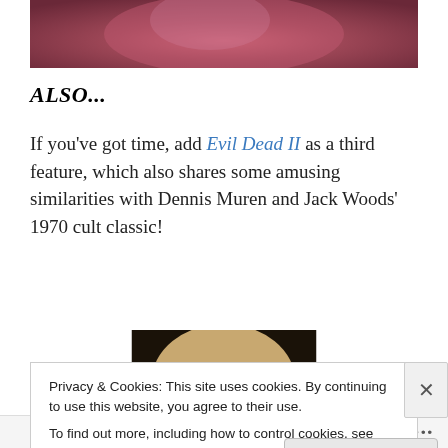[Figure (photo): Partial image at top of page showing reddish-pink tones, appears to be a horror movie still]
ALSO...
If you’ve got time, add Evil Dead II as a third feature, which also shares some amusing similarities with Dennis Muren and Jack Woods’ 1970 cult classic!
[Figure (photo): Black and white horror image of a skull-like face with wide staring eyes]
Privacy & Cookies: This site uses cookies. By continuing to use this website, you agree to their use.
To find out more, including how to control cookies, see here: Cookie Policy
Close and accept
Follow